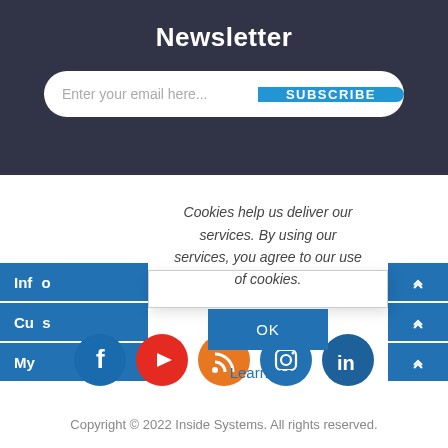Newsletter
Enter your email here...
SUBSCRIBE
Cookies help us deliver our services. By using our services, you agree to our use of cookies.
OK
Learn more
Info
Cu
My
[Figure (illustration): Social media icons row: Facebook (blue), YouTube (red), RSS (orange), Instagram (blue), LinkedIn (blue)]
Copyright © 2022 Inside Systems. All rights reserved.